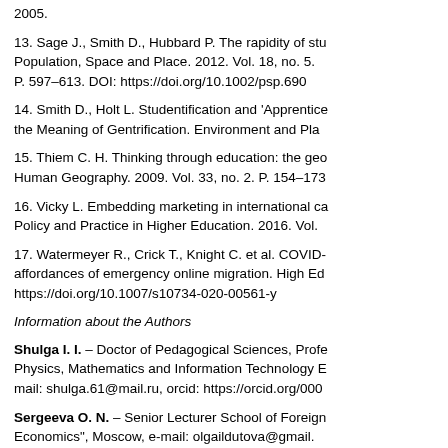2005.
13. Sage J., Smith D., Hubbard P. The rapidity of stu... Population, Space and Place. 2012. Vol. 18, no. 5. P. 597–613. DOI: https://doi.org/10.1002/psp.690
14. Smith D., Holt L. Studentification and 'Apprentice... the Meaning of Gentrification. Environment and Pla...
15. Thiem C. H. Thinking through education: the geo... Human Geography. 2009. Vol. 33, no. 2. P. 154–173...
16. Vicky L. Embedding marketing in international ca... Policy and Practice in Higher Education. 2016. Vol. ...
17. Watermeyer R., Crick T., Knight C. et al. COVID-... affordances of emergency online migration. High Ed... https://doi.org/10.1007/s10734-020-00561-y
Information about the Authors
Shulga I. I. – Doctor of Pedagogical Sciences, Profe... Physics, Mathematics and Information Technology E... mail: shulga.61@mail.ru, orcid: https://orcid.org/000...
Sergeeva O. N. – Senior Lecturer School of Foreign... Economics", Moscow, e-mail: olgaildutova@gmail....